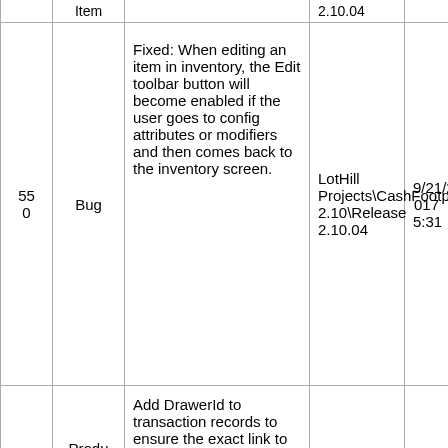|  | Item |  | 2.10.04 |  |
| --- | --- | --- | --- | --- |
| 550 | Bug | Fixed: When editing an item in inventory, the Edit toolbar button will become enabled if the user goes to config attributes or modifiers and then comes back to the inventory screen. | LotHill Projects\CashFootprint\Release 2.10\Release 2.10.04 | 9/21/2017 5:31 |
| 543 | Product Backlog Item | Add DrawerId to transaction records to ensure the exact link to session without using dates. | LotHill Projects\CashFootprint\Release 2.10\Release 2.10.03 | 9/6/2017 3:24 |